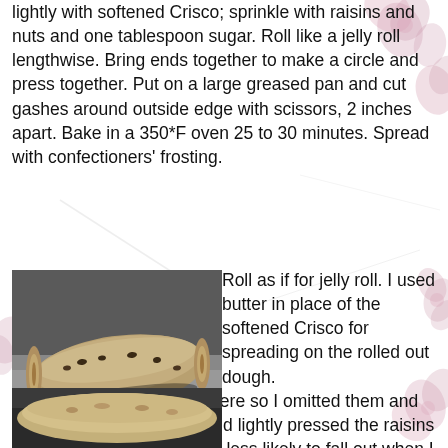lightly with softened Crisco;  sprinkle with raisins and nuts and one tablespoon sugar.  Roll like a jelly roll lengthwise.  Bring ends together to make a circle and press together.  Put on a large greased pan and cut gashes around outside edge with scissors, 2 inches apart.  Bake in a 350*F oven 25 to 30 minutes.  Spread with confectioners' frosting.
[Figure (photo): A rolled dough log (jelly roll shape) on foil/parchment, showing a bread roll with raisins visible, in preparation]
Roll as if for jelly roll.  I used butter in place of the softened Crisco for spreading on the rolled out dough.We have a nut sensitivity here so I omitted them and sprinkled with cinnamon and lightly pressed the raisins into the dough so they'd be less likely to fall out when I cut into the tea ring shape.
[Figure (photo): Partial view of shaped tea ring dough on dark baking pan]